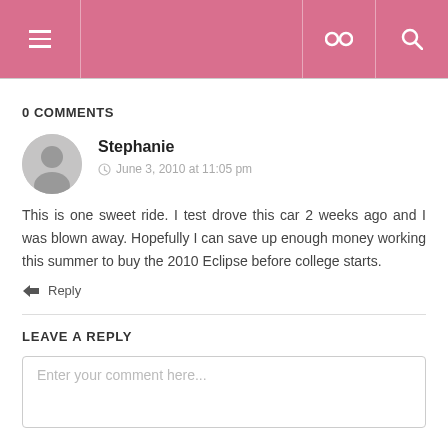Navigation header with hamburger menu, link icon, and search icon
0 COMMENTS
Stephanie
June 3, 2010 at 11:05 pm
This is one sweet ride. I test drove this car 2 weeks ago and I was blown away. Hopefully I can save up enough money working this summer to buy the 2010 Eclipse before college starts.
Reply
LEAVE A REPLY
Enter your comment here...